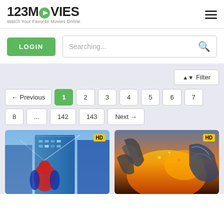[Figure (logo): 123MOVIES logo with green play button icon and tagline 'Watch Your Favorite Movies Online']
LOGIN
Searching...
⬡ Filter
← Previous  1  2  3  4  5  6  7  8  ...  142  143  Next →
[Figure (photo): Spider-Man Homecoming movie thumbnail with HD badge]
[Figure (photo): Transformers: The Last Knight movie thumbnail with HD badge]